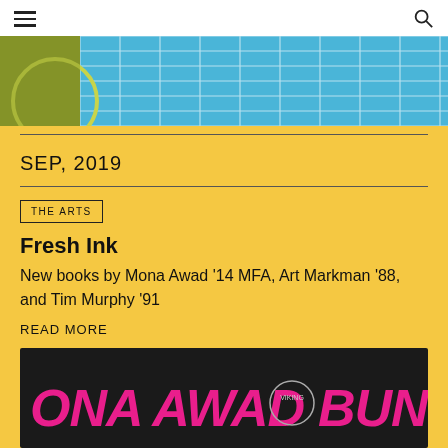[Figure (photo): Top portion of a book or illustration with blue grid/pool pattern and green circular element, partially cropped]
SEP, 2019
THE ARTS
Fresh Ink
New books by Mona Awad '14 MFA, Art Markman '88, and Tim Murphy '91
READ MORE
[Figure (photo): Close-up of a book spine showing 'MONA AWAD' in pink graffiti-style letters and 'BUNN...' on black background, with Viking publisher logo]